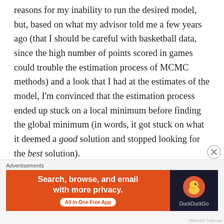reasons for my inability to run the desired model, but, based on what my advisor told me a few years ago (that I should be careful with basketball data, since the high number of points scored in games could trouble the estimation process of MCMC methods) and a look that I had at the estimates of the model, I'm convinced that the estimation process ended up stuck on a local minimum before finding the global minimum (in words, it got stuck on what it deemed a good solution and stopped looking for the best solution).
I will shortly move on from this discussion, but first I
[Figure (other): DuckDuckGo advertisement banner: orange left panel with text 'Search, browse, and email with more privacy. All in One Free App' and dark right panel with DuckDuckGo logo]